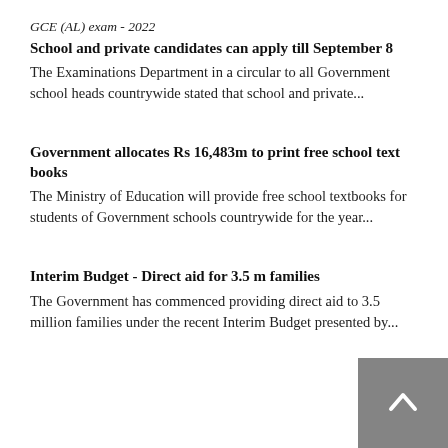GCE (AL) exam - 2022
School and private candidates can apply till September 8
The Examinations Department in a circular to all Government school heads countrywide stated that school and private...
Government allocates Rs 16,483m to print free school text books
The Ministry of Education will provide free school textbooks for students of Government schools countrywide for the year...
Interim Budget - Direct aid for 3.5 m families
The Government has commenced providing direct aid to 3.5 million families under the recent Interim Budget presented by...